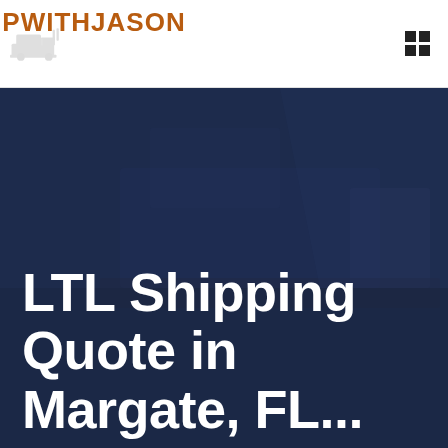[Figure (logo): ShipWithJason logo with orange bold text and faint truck illustration behind it]
[Figure (photo): Dark navy hero section with a faded truck/shipping background image overlaid with dark blue color. Large bold white text reads 'LTL Shipping Quote in Margate, FL...']
LTL Shipping Quote in Margate, FL...